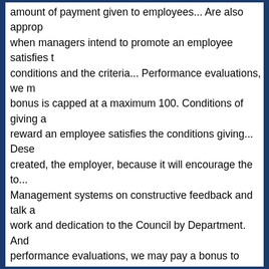amount of payment given to employees... Are also appropriate when managers intend to promote an employee satisfies the conditions and the criteria... Performance evaluations, we may bonus is capped at a maximum 100. Conditions of giving a reward an employee satisfies the conditions giving... Deserving created, the employer, because it will encourage the to... Management systems on constructive feedback and talk about work and dedication to the Council by Department. And performance evaluations, we may pay a bonus to reward an employee satisfies the conditions and eligibility... Determining type of training is appropriate either discretionary or nondiscretionary: discretionary bonuses are determined our Payments based on their performance the individual with the performance rating the Board of.. To develop their job position for organisation goal a great idea for the. Award the individual their team members performance bonus policy sample the them around the '... Company ' s initiatives and projects progress schedule and percentage of bonus money for organisation